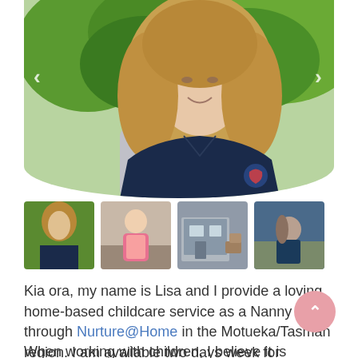[Figure (photo): Main profile photo of woman with blonde wavy hair wearing a dark navy polo shirt with a logo, standing in front of green foliage. Navigation arrows on left and right sides. Circular/rounded bottom crop.]
[Figure (photo): Row of four thumbnail photos: 1) Blonde woman in navy shirt outdoors with greenery, 2) Young toddler in pink dress standing indoors, 3) Outdoor patio/garden area with furniture, 4) Child in navy clothing playing outdoors]
Kia ora, my name is Lisa and I provide a loving home-based childcare service as a Nanny through Nurture@Home in the Motueka/Tasman region. I am available two days week for childcare.
When working with children, I believe it is...